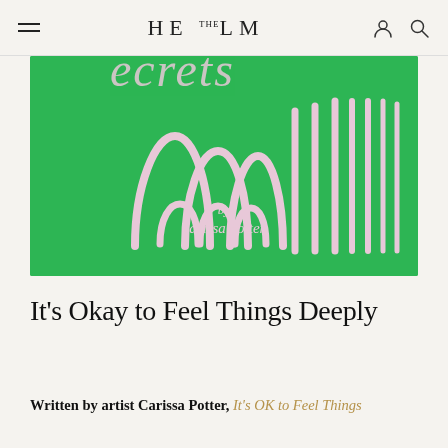HE THE LM
[Figure (illustration): Book cover on green background with pink hand-drawn figures that look like arching lines and vertical strokes resembling abstract people or trees. Text at bottom reads 'by carissa potter']
It's Okay to Feel Things Deeply
Written by artist Carissa Potter, It's OK to Feel Things